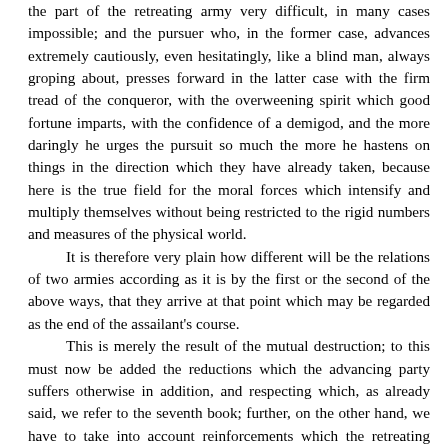the part of the retreating army very difficult, in many cases impossible; and the pursuer who, in the former case, advances extremely cautiously, even hesitatingly, like a blind man, always groping about, presses forward in the latter case with the firm tread of the conqueror, with the overweening spirit which good fortune imparts, with the confidence of a demigod, and the more daringly he urges the pursuit so much the more he hastens on things in the direction which they have already taken, because here is the true field for the moral forces which intensify and multiply themselves without being restricted to the rigid numbers and measures of the physical world.
	It is therefore very plain how different will be the relations of two armies according as it is by the first or the second of the above ways, that they arrive at that point which may be regarded as the end of the assailant's course.
	This is merely the result of the mutual destruction; to this must now be added the reductions which the advancing party suffers otherwise in addition, and respecting which, as already said, we refer to the seventh book; further, on the other hand, we have to take into account reinforcements which the retreating party receives in the great majority of cases, by forces subsequently joining him either in the form of help from abroad or through persistent efforts at home.